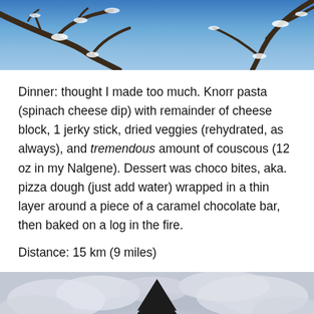[Figure (photo): Close-up of snow-dusted tree branches against a blue sky]
Dinner: thought I made too much. Knorr pasta (spinach cheese dip) with remainder of cheese block, 1 jerky stick, dried veggies (rehydrated, as always), and tremendous amount of couscous (12 oz in my Nalgene). Dessert was choco bites, aka. pizza dough (just add water) wrapped in a thin layer around a piece of a caramel chocolate bar, then baked on a log in the fire.
Distance: 15 km (9 miles)
[Figure (photo): A tall lone pine tree silhouetted against a cloudy sky with bright backlight]